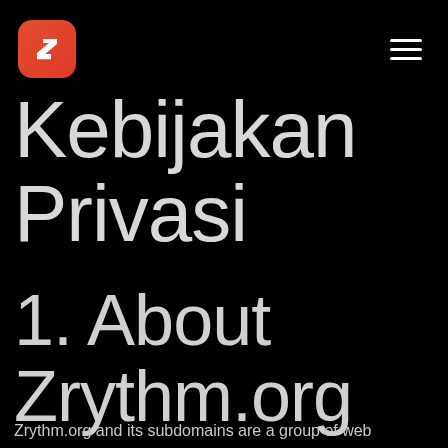[Zrythm logo] [hamburger menu]
Kebijakan Privasi
1. About Zrythm.org
Zrythm.org and its subdomains are a group of web